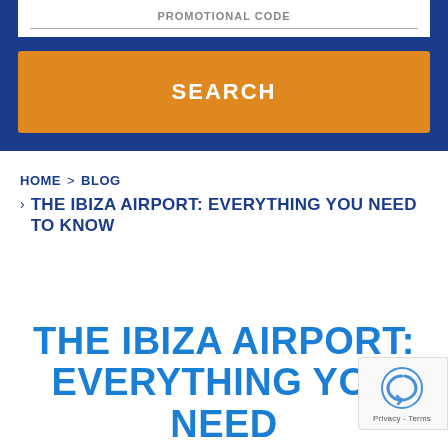PROMOTIONAL CODE
SEARCH
HOME > BLOG
THE IBIZA AIRPORT: EVERYTHING YOU NEED TO KNOW
THE IBIZA AIRPORT: EVERYTHING YOU NEED